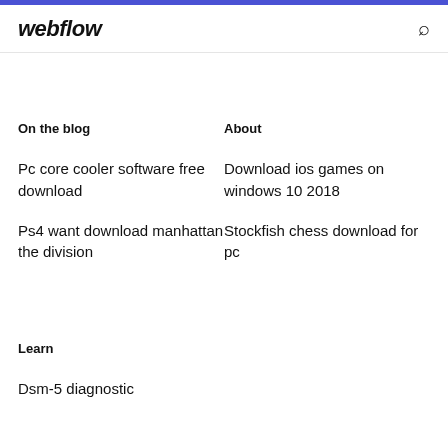webflow
On the blog
About
Pc core cooler software free download
Download ios games on windows 10 2018
Ps4 want download manhattan the division
Stockfish chess download for pc
Learn
Dsm-5 diagnostic